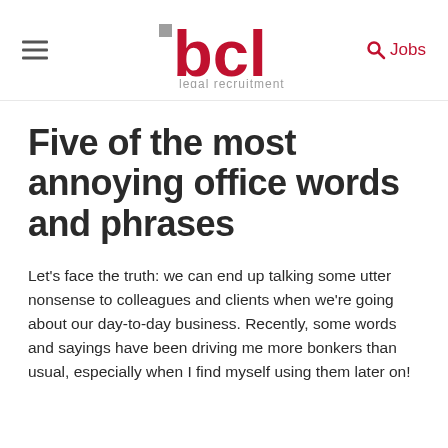bcl legal recruitment — Jobs
Five of the most annoying office words and phrases
Let's face the truth: we can end up talking some utter nonsense to colleagues and clients when we're going about our day-to-day business. Recently, some words and sayings have been driving me more bonkers than usual, especially when I find myself using them later on!